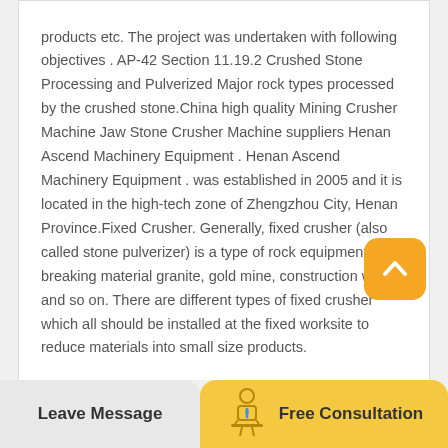products etc. The project was undertaken with following objectives . AP-42 Section 11.19.2 Crushed Stone Processing and Pulverized Major rock types processed by the crushed stone.China high quality Mining Crusher Machine Jaw Stone Crusher Machine suppliers Henan Ascend Machinery Equipment . Henan Ascend Machinery Equipment . was established in 2005 and it is located in the high-tech zone of Zhengzhou City, Henan Province.Fixed Crusher. Generally, fixed crusher (also called stone pulverizer) is a type of rock equipment breaking material granite, gold mine, construction waste and so on. There are different types of fixed crusher which all should be installed at the fixed worksite to reduce materials into small size products.
[Figure (illustration): Orange rounded square button with white upward chevron/arrow icon — a scroll-to-top button]
Leave Message
[Figure (illustration): Line-art icon of a person in business attire sitting at a desk, representing a consultant]
Free Consultation